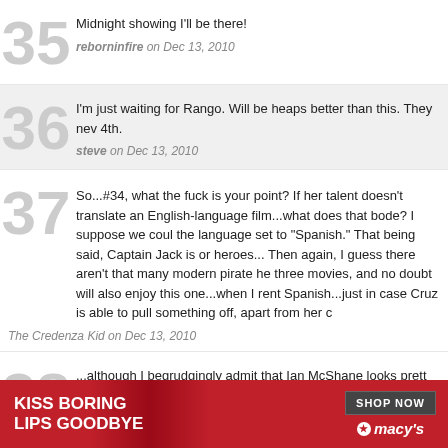35 — Midnight showing I'll be there! — reborninfire on Dec 13, 2010
36 — I'm just waiting for Rango. Will be heaps better than this. They nev 4th. — steve on Dec 13, 2010
37 — So...#34, what the fuck is your point? If her talent doesn't translate an English-language film...what does that bode? I suppose we coul the language set to "Spanish." That being said, Captain Jack is or heroes... Then again, I guess there aren't that many modern pirate he three movies, and no doubt will also enjoy this one...when I rent Spanish...just in case Cruz is able to pull something off, apart from her c — The Credenza Kid on Dec 13, 2010
38 — ...although I begrudgingly admit that Ian McShane looks prett
[Figure (infographic): Macy's advertisement: red background with woman wearing red lipstick, text 'KISS BORING LIPS GOODBYE', 'SHOP NOW' button, Macy's star logo]